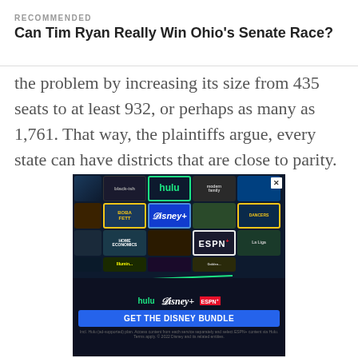RECOMMENDED
Can Tim Ryan Really Win Ohio's Senate Race?
the problem by increasing its size from 435 seats to at least 932, or perhaps as many as 1,761. That way, the plaintiffs argue, every state can have districts that are close to parity.
[Figure (photo): Disney Bundle advertisement showing a grid of streaming show thumbnails (Hulu, Disney+, ESPN+) with a blue 'GET THE DISNEY BUNDLE' call-to-action button at the bottom.]